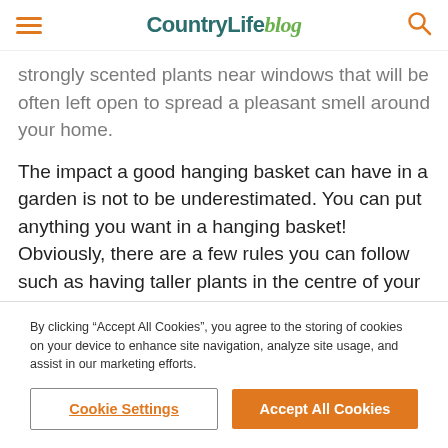CountryLife blog
strongly scented plants near windows that will be often left open to spread a pleasant smell around your home.
The impact a good hanging basket can have in a garden is not to be underestimated. You can put anything you want in a hanging basket! Obviously, there are a few rules you can follow such as having taller plants in the centre of your basket with trailing plants to the side. But really after this, your only limitation is your imagination. Traditionally
By clicking “Accept All Cookies”, you agree to the storing of cookies on your device to enhance site navigation, analyze site usage, and assist in our marketing efforts.
Cookie Settings
Accept All Cookies